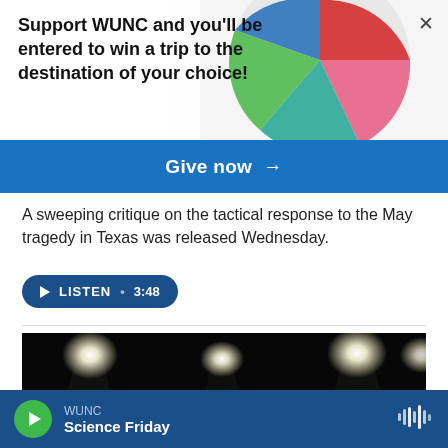Support WUNC and you'll be entered to win a trip to the destination of your choice!
Give now →
A sweeping critique on the tactical response to the May tragedy in Texas was released Wednesday.
LISTEN · 3:48
[Figure (photo): Dark stage with bright spotlights shining down; a person visible at the bottom center of the frame.]
WUNC
Science Friday